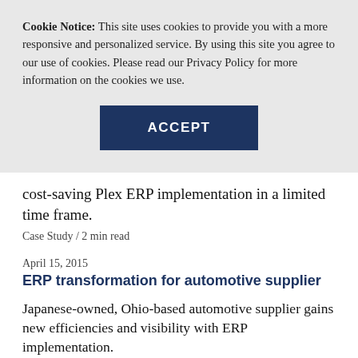Cookie Notice: This site uses cookies to provide you with a more responsive and personalized service. By using this site you agree to our use of cookies. Please read our Privacy Policy for more information on the cookies we use.
[Figure (other): ACCEPT button — a dark navy blue rectangular button with white bold uppercase text 'ACCEPT']
cost-saving Plex ERP implementation in a limited time frame.
Case Study / 2 min read
April 15, 2015
ERP transformation for automotive supplier
Japanese-owned, Ohio-based automotive supplier gains new efficiencies and visibility with ERP implementation.
Case Study / 2 min read